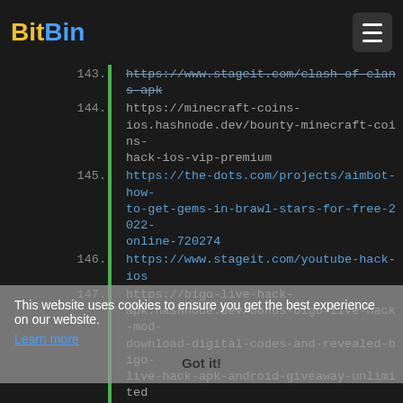BitBin
143. https://www.stageit.com/clash-of-clans-apk
144. https://minecraft-coins-ios.hashnode.dev/bounty-minecraft-coins-hack-ios-vip-premium
145. https://the-dots.com/projects/aimbot-how-to-get-gems-in-brawl-stars-for-free-2022-online-720274
146. https://www.stageit.com/youtube-hack-ios
147. https://bigo-live-hack-apk.hashnode.dev/bonus-bigo-live-hack-mod-download-digital-codes-and-revealed-bigo-live-hack-apk-android-giveaway-unlimited
148. https://the-dots.com/projects/verified-bingo-blitz-hack-activation-code-promo-codes-freebingo-blitz-cheat-codes-for-android-online-720330
149. https://roundme.com/@nutakuhackgold/about
150. https://many.link/csrracing2iosmod
151. https://linktr.ee/coomeetpremiummod
152. https://trailblazer.me/id/high-rise-mod-ios
This website uses cookies to ensure you get the best experience on our website. Learn more Got it!